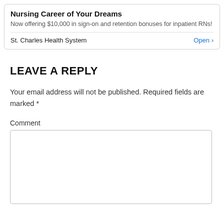Nursing Career of Your Dreams
Now offering $10,000 in sign-on and retention bonuses for inpatient RNs!
St. Charles Health System   Open >
LEAVE A REPLY
Your email address will not be published. Required fields are marked *
Comment